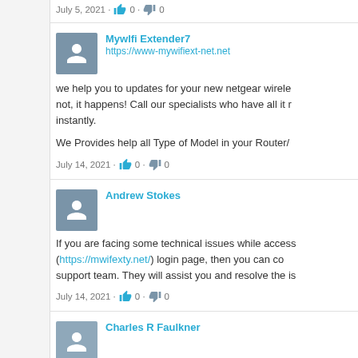July 5, 2021 · 👍 0 · 👎 0
Mywlfi Extender7
https://www-mywifiext-net.net
we help you to updates for your new netgear wirele... not, it happens! Call our specialists who have all it r... instantly.
We Provides help all Type of Model in your Router/...
July 14, 2021 · 👍 0 · 👎 0
Andrew Stokes
If you are facing some technical issues while access... (https://mwifexty.net/) login page, then you can co... support team. They will assist you and resolve the is...
July 14, 2021 · 👍 0 · 👎 0
Charles R Faulkner
Thanks for sharing this. If you want to know the co...